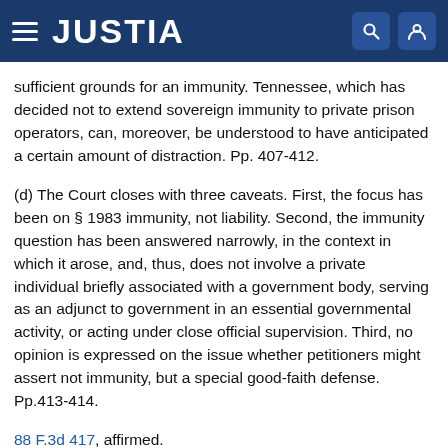JUSTIA
sufficient grounds for an immunity. Tennessee, which has decided not to extend sovereign immunity to private prison operators, can, moreover, be understood to have anticipated a certain amount of distraction. Pp. 407-412.
(d) The Court closes with three caveats. First, the focus has been on § 1983 immunity, not liability. Second, the immunity question has been answered narrowly, in the context in which it arose, and, thus, does not involve a private individual briefly associated with a government body, serving as an adjunct to government in an essential governmental activity, or acting under close official supervision. Third, no opinion is expressed on the issue whether petitioners might assert not immunity, but a special good-faith defense. Pp.413-414.
88 F.3d 417, affirmed.